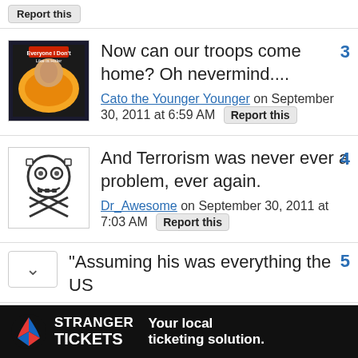Report this
Now can our troops come home? Oh nevermind....
Cato the Younger Younger on September 30, 2011 at 6:59 AM  Report this
3
And Terrorism was never ever a problem, ever again.
Dr_Awesome on September 30, 2011 at 7:03 AM  Report this
4
"Assuming his was everything the US
5
STRANGER TICKETS  Your local ticketing solution.